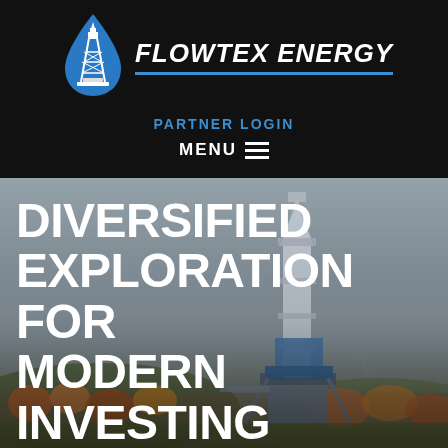[Figure (logo): Flowtex Energy logo with oil derrick inside a blue water droplet shape, white derrick illustration]
FLOWTEX ENERGY
PARTNER LOGIN
MENU
[Figure (photo): Photograph of a tall oil/gas drilling rig against an overcast grey sky, with autumnal foliage visible in the background]
DIVERSIFIED EXPLORATION FOR MODERN INVESTING